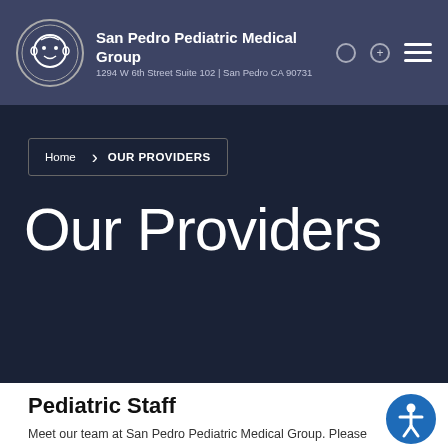San Pedro Pediatric Medical Group | 1294 W 6th Street Suite 102 | San Pedro CA 90731
Home › OUR PROVIDERS
Our Providers
Pediatric Staff
Meet our team at San Pedro Pediatric Medical Group. Please...